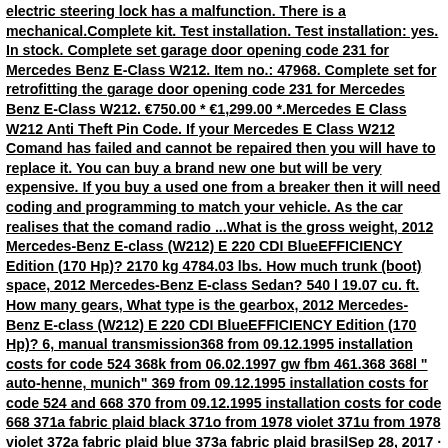electric steering lock has a malfunction. There is a mechanical.Complete kit. Test installation. Test installation: yes. In stock. Complete set garage door opening code 231 for Mercedes Benz E-Class W212. Item no.: 47968. Complete set for retrofitting the garage door opening code 231 for Mercedes Benz E-Class W212. €750.00 * €1,299.00 *.Mercedes E Class W212 Anti Theft Pin Code. If your Mercedes E Class W212 Comand has failed and cannot be repaired then you will have to replace it. You can buy a brand new one but will be very expensive. If you buy a used one from a breaker then it will need coding and programming to match your vehicle. As the car realises that the comand radio ...What is the gross weight, 2012 Mercedes-Benz E-class (W212) E 220 CDI BlueEFFICIENCY Edition (170 Hp)? 2170 kg 4784.03 lbs. How much trunk (boot) space, 2012 Mercedes-Benz E-class Sedan? 540 l 19.07 cu. ft. How many gears, What type is the gearbox, 2012 Mercedes-Benz E-class (W212) E 220 CDI BlueEFFICIENCY Edition (170 Hp)? 6, manual transmission368 from 09.12.1995 installation costs for code 524 368k from 06.02.1997 gw fbm 461.368 368l " auto-henne, munich" 369 from 09.12.1995 installation costs for code 524 and 668 370 from 09.12.1995 installation costs for code 668 371a fabric plaid black 371o from 1978 violet 371u from 1978 violet 372a fabric plaid blue 373a fabric plaid brasilSep 28, 2017 · Just bought a 2010 E350 4matic with 122k KMs (in